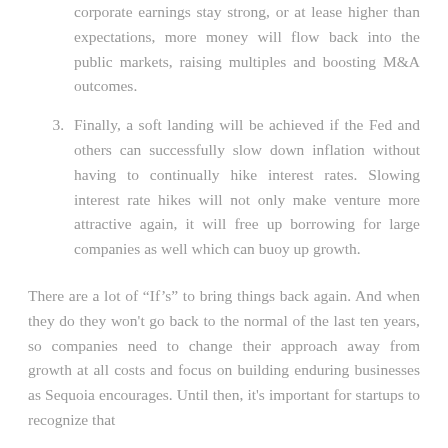corporate earnings stay strong, or at lease higher than expectations, more money will flow back into the public markets, raising multiples and boosting M&A outcomes.
3. Finally, a soft landing will be achieved if the Fed and others can successfully slow down inflation without having to continually hike interest rates. Slowing interest rate hikes will not only make venture more attractive again, it will free up borrowing for large companies as well which can buoy up growth.
There are a lot of “If’s” to bring things back again. And when they do they won’t go back to the normal of the last ten years, so companies need to change their approach away from growth at all costs and focus on building enduring businesses as Sequoia encourages. Until then, it’s important for startups to recognize that